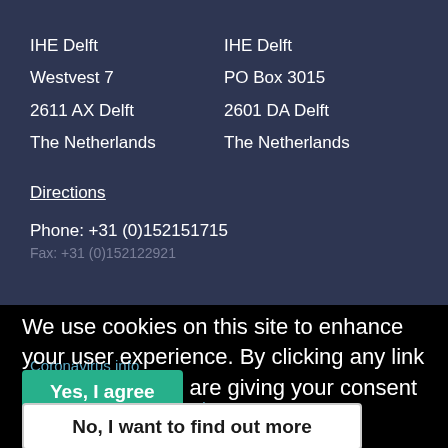IHE Delft
Westvest 7
2611 AX Delft
The Netherlands
IHE Delft
PO Box 3015
2601 DA Delft
The Netherlands
Directions
Phone: +31 (0)152151715
Fax: +31 (0)152122921
We use cookies on this site to enhance your user experience. By clicking any link on this page you are giving your consent for us to set cookies.
Coronavirus info
Media
Information for staff & students
Yes, I agree
No, I want to find out more